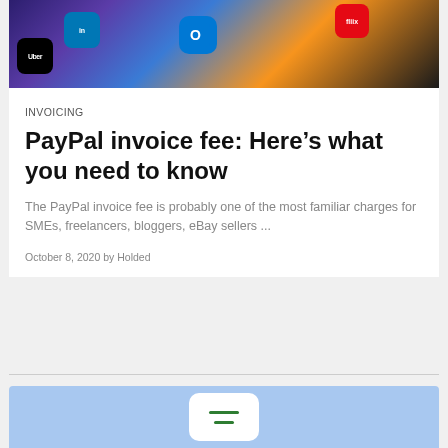[Figure (photo): Smartphone screen showing app icons including Uber, LinkedIn, Outlook, and Netflix]
INVOICING
PayPal invoice fee: Here's what you need to know
The PayPal invoice fee is probably one of the most familiar charges for SMEs, freelancers, bloggers, eBay sellers ...
October 8, 2020 by Holded
[Figure (illustration): Blue card with white rounded rectangle icon containing green lines]